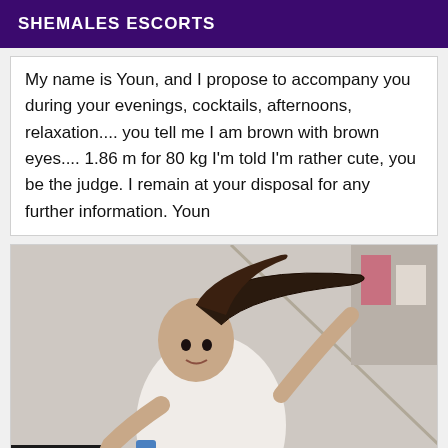SHEMALES ESCORTS
My name is Youn, and I propose to accompany you during your evenings, cocktails, afternoons, relaxation.... you tell me I am brown with brown eyes.... 1.86 m for 80 kg I'm told I'm rather cute, you be the judge. I remain at your disposal for any further information. Youn
[Figure (photo): A person taking a mirror selfie holding a camera, wearing a white top and black leggings, with long dark hair in a ponytail]